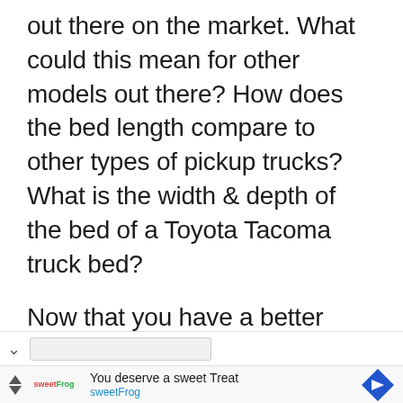out there on the market. What could this mean for other models out there? How does the bed length compare to other types of pickup trucks? What is the width & depth of the bed of a Toyota Tacoma truck bed?

Now that you have a better image of how long your truck bed should be if you have a 2020 Toyota Tacoma, we can get into more of the research. Keep on reading to learn more!
[Figure (screenshot): UI bar with chevron down icon and search/input field]
[Figure (infographic): Advertisement banner for sweetFrog: 'You deserve a sweet Treat' with sweetFrog logo, navigation arrow icon, and play controls]